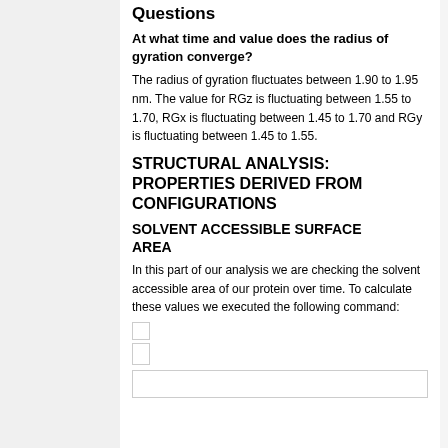Questions
At what time and value does the radius of gyration converge?
The radius of gyration fluctuates between 1.90 to 1.95 nm. The value for RGz is fluctuating between 1.55 to 1.70, RGx is fluctuating between 1.45 to 1.70 and RGy is fluctuating between 1.45 to 1.55.
STRUCTURAL ANALYSIS: PROPERTIES DERIVED FROM CONFIGURATIONS
SOLVENT ACCESSIBLE SURFACE AREA
In this part of our analysis we are checking the solvent accessible area of our protein over time. To calculate these values we executed the following command:
[Figure (other): Small code block placeholder boxes]
[Figure (other): Bottom bordered box]